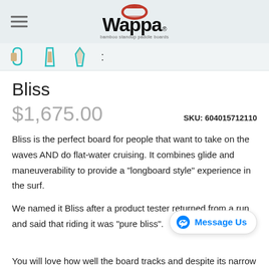Wappa — bamboo standup paddle boards
[Figure (logo): Wappa logo with red swoosh icon and 'bamboo standup paddle boards' subtitle]
[Figure (other): Product thumbnail navigation row with board silhouette icons]
Bliss
$1,675.00
SKU: 604015712110
Bliss is the perfect board for people that want to take on the waves AND do flat-water cruising. It combines glide and maneuverability to provide a "longboard style" experience in the surf.
We named it Bliss after a product tester returned from a run and said that riding it was "pure bliss".
You will love how well the board tracks and despite its narrow